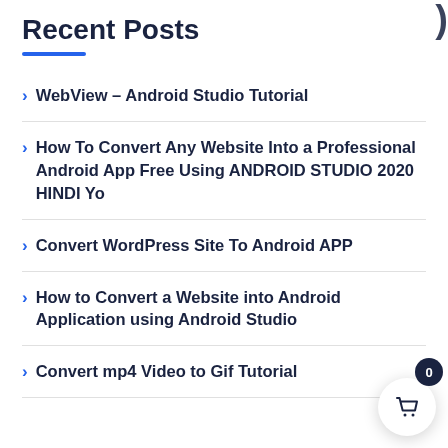Recent Posts
WebView – Android Studio Tutorial
How To Convert Any Website Into a Professional Android App Free Using ANDROID STUDIO 2020 HINDI Yo
Convert WordPress Site To Android APP
How to Convert a Website into Android Application using Android Studio
Convert mp4 Video to Gif Tutorial